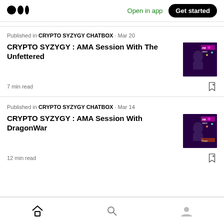Medium logo | Open in app | Get started
Published in CRYPTO SYZYGY CHATBOX · Mar 20
CRYPTO SYZYGY : AMA Session With The Unfettered
7 min read
Published in CRYPTO SYZYGY CHATBOX · Mar 14
CRYPTO SYZYGY : AMA Session With DragonWar
12 min read
Home | Search | Profile